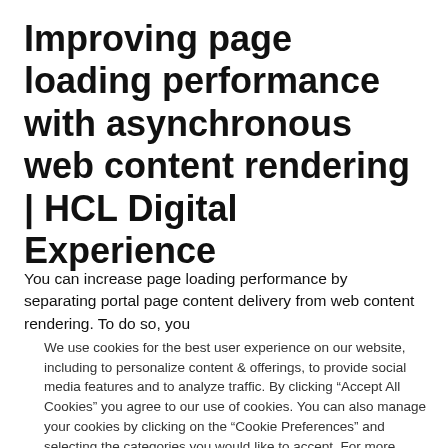Improving page loading performance with asynchronous web content rendering | HCL Digital Experience
You can increase page loading performance by separating portal page content delivery from web content rendering. To do so, you
We use cookies for the best user experience on our website, including to personalize content & offerings, to provide social media features and to analyze traffic. By clicking “Accept All Cookies” you agree to our use of cookies. You can also manage your cookies by clicking on the “Cookie Preferences” and selecting the categories you would like to accept. For more information on how we use cookies please visit our Cookie Statement and Privacy Statement